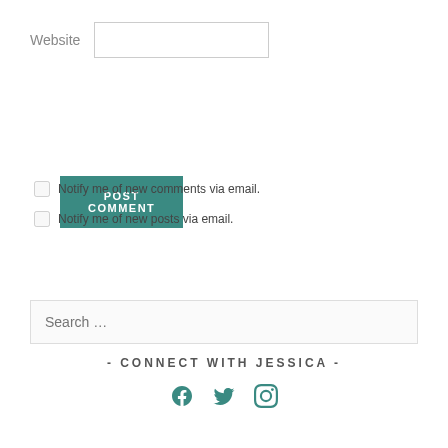Website
[Figure (screenshot): Website text input field]
[Figure (screenshot): POST COMMENT button (teal/dark cyan background, white uppercase text)]
Notify me of new comments via email.
Notify me of new posts via email.
[Figure (screenshot): Search input field with placeholder text 'Search ...']
- CONNECT WITH JESSICA -
[Figure (infographic): Social media icons: Facebook, Twitter, Instagram — teal colored]